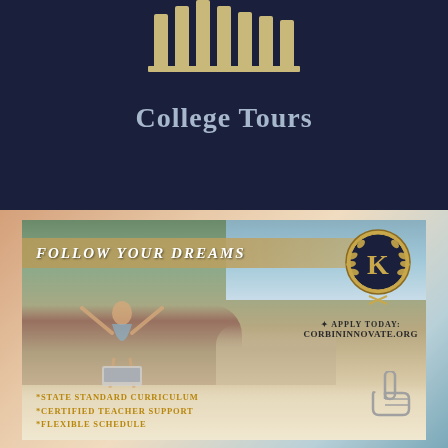[Figure (logo): Dark navy background with gold classical column/pillar logo at top center]
College Tours
[Figure (infographic): Advertisement for Corbin Innovate online education. Shows woman with arms raised outdoors with laptop. Text: FOLLOW YOUR DREAMS, K logo badge, APPLY TODAY: CORBININNOVATE.ORG, *STATE STANDARD CURRICULUM *CERTIFIED TEACHER SUPPORT *FLEXIBLE SCHEDULE]
*STATE STANDARD CURRICULUM
*CERTIFIED TEACHER SUPPORT
*FLEXIBLE SCHEDULE